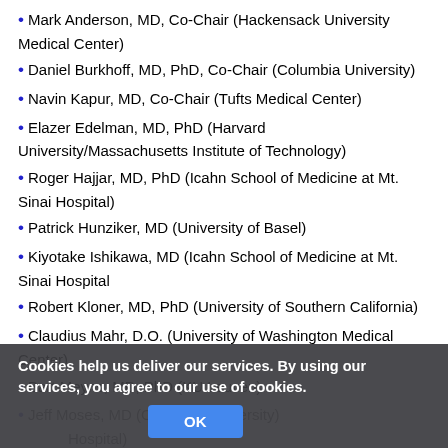Mark Anderson, MD, Co-Chair (Hackensack University Medical Center)
Daniel Burkhoff, MD, PhD, Co-Chair (Columbia University)
Navin Kapur, MD, Co-Chair (Tufts Medical Center)
Elazer Edelman, MD, PhD (Harvard University/Massachusetts Institute of Technology)
Roger Hajjar, MD, PhD (Icahn School of Medicine at Mt. Sinai Hospital)
Patrick Hunziker, MD (University of Basel)
Kiyotake Ishikawa, MD (Icahn School of Medicine at Mt. Sinai Hospital
Robert Kloner, MD, PhD (University of Southern California)
Claudius Mahr, D.O. (University of Washington Medical Center)
Bart Meyns, MD, PhD (KU Leuven)
Jeff Moses, MD (Columbia University)
[partially visible] Hospital)
William O'Neill, MD (Henry Ford Hospital)
Eric Peterson, MD (Duke University)